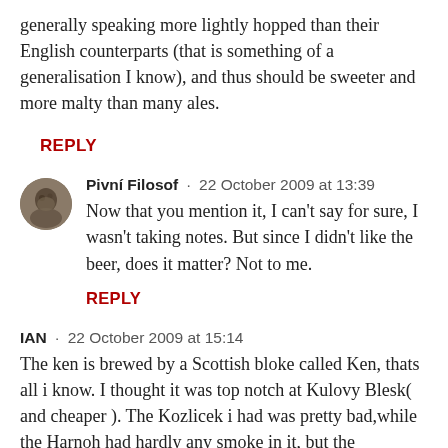generally speaking more lightly hopped than their English counterparts (that is something of a generalisation I know), and thus should be sweeter and more malty than many ales.
REPLY
Pivní Filosof · 22 October 2009 at 13:39
Now that you mention it, I can't say for sure, I wasn't taking notes. But since I didn't like the beer, does it matter? Not to me.
REPLY
IAN · 22 October 2009 at 15:14
The ken is brewed by a Scottish bloke called Ken, thats all i know. I thought it was top notch at Kulovy Blesk( and cheaper ). The Kozlicek i had was pretty bad,while the Harnoh had hardly any smoke in it, but the